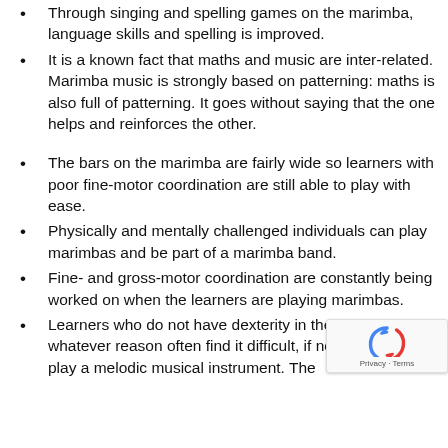Through singing and spelling games on the marimba, language skills and spelling is improved.
It is a known fact that maths and music are inter-related. Marimba music is strongly based on patterning: maths is also full of patterning. It goes without saying that the one helps and reinforces the other.
The bars on the marimba are fairly wide so learners with poor fine-motor coordination are still able to play with ease.
Physically and mentally challenged individuals can play marimbas and be part of a marimba band.
Fine- and gross-motor coordination are constantly being worked on when the learners are playing marimbas.
Learners who do not have dexterity in their fingers for whatever reason often find it difficult, if not impossible, to play a melodic musical instrument. The